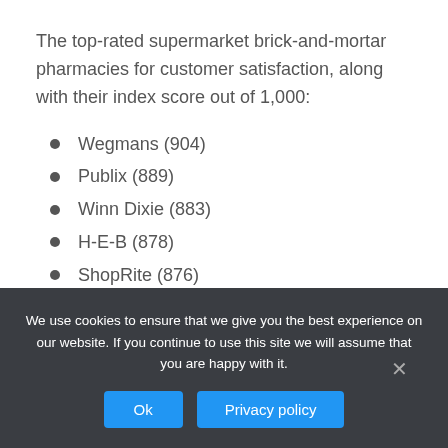The top-rated supermarket brick-and-mortar pharmacies for customer satisfaction, along with their index score out of 1,000:
Wegmans (904)
Publix (889)
Winn Dixie (883)
H-E-B (878)
ShopRite (876)
Stop and Shop (871)
Albertsons (867)
K... (8??)
We use cookies to ensure that we give you the best experience on our website. If you continue to use this site we will assume that you are happy with it.